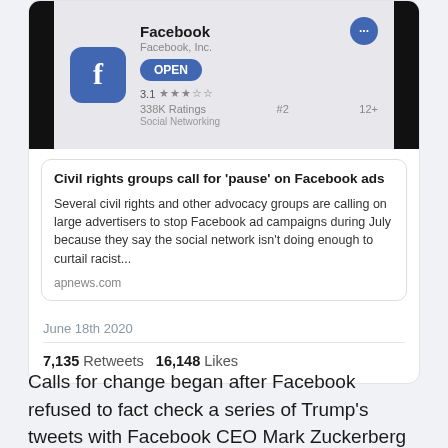[Figure (screenshot): Facebook app store listing screenshot showing Facebook icon, rating 3.1 stars, OPEN button, #2 Social Networking, 12+ age rating]
Civil rights groups call for ‘pause’ on Facebook ads
Several civil rights and other advocacy groups are calling on large advertisers to stop Facebook ad campaigns during July because they say the social network isn’t doing enough to curtail racist...
apnews.com
June 18th 2020
7,135 Retweets  16,148 Likes
Calls for change began after Facebook refused to fact check a series of Trump’s tweets with Facebook CEO Mark Zuckerberg making clear his stance that social